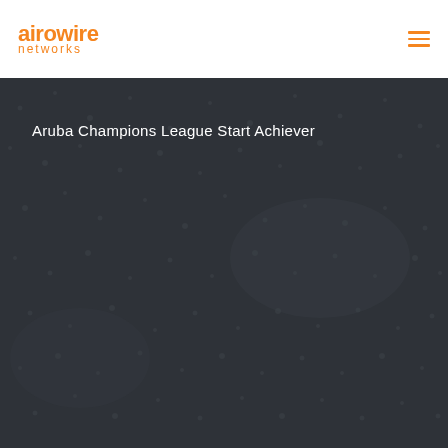[Figure (logo): Airowire Networks logo in orange text, two lines: 'airowire' in bold and 'networks' in lighter weight below]
[Figure (other): Hamburger menu icon (three horizontal orange lines) in top right corner]
Aruba Champions League Start Achiever
[Figure (photo): Dark background hero section with muted network/dot pattern texture in dark grey-brown tones]